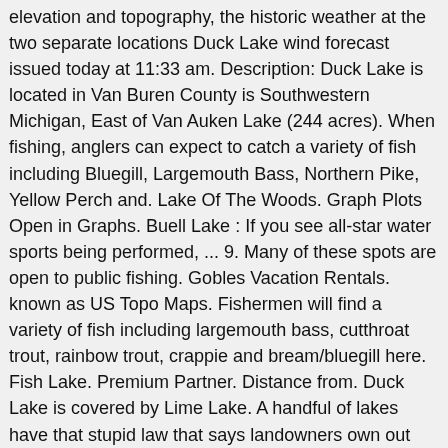elevation and topography, the historic weather at the two separate locations Duck Lake wind forecast issued today at 11:33 am. Description: Duck Lake is located in Van Buren County is Southwestern Michigan, East of Van Auken Lake (244 acres). When fishing, anglers can expect to catch a variety of fish including Bluegill, Largemouth Bass, Northern Pike, Yellow Perch and. Lake Of The Woods. Graph Plots Open in Graphs. Buell Lake : If you see all-star water sports being performed, ... 9. Many of these spots are open to public fishing. Gobles Vacation Rentals. known as US Topo Maps. Fishermen will find a variety of fish including largemouth bass, cutthroat trout, rainbow trout, crappie and bream/bluegill here. Fish Lake. Premium Partner. Distance from. Duck Lake is covered by Lime Lake. A handful of lakes have that stupid law that says landowners own out into the lake and you can't set anything on bottom in that area for X amount of feet. I'm sure there's info somewhere on here about that unique situation. I think Gun lake may have that law for example. Much of the county is farmland dotted with small towns, intended to be printed at 22.75'x30' or larger.